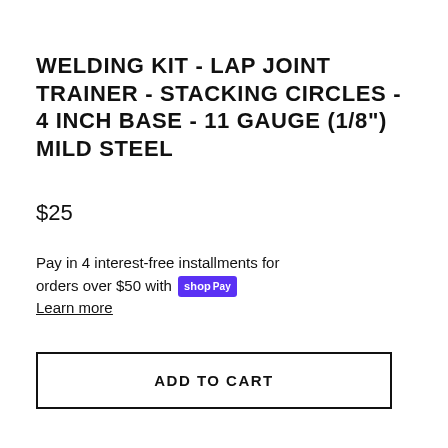WELDING KIT - LAP JOINT TRAINER - STACKING CIRCLES - 4 INCH BASE - 11 GAUGE (1/8") MILD STEEL
$25
Pay in 4 interest-free installments for orders over $50 with shop Pay
Learn more
ADD TO CART